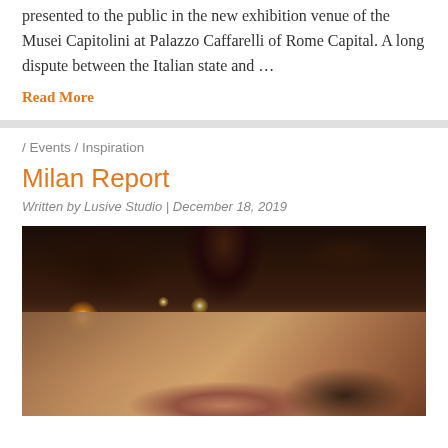presented to the public in the new exhibition venue of the Musei Capitolini at Palazzo Caffarelli of Rome Capital. A long dispute between the Italian state and …
Read More
/ Events / Inspiration
Milan Report
Written by Lusive Studio | December 18, 2019
[Figure (photo): Dark interior exhibition space showing track lighting on ceiling with bright spotlights, and various textile/material samples displayed on a table in the foreground, photographed in low light conditions]